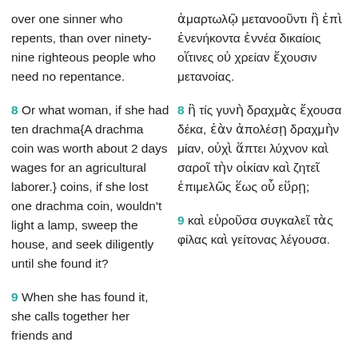over one sinner who repents, than over ninety-nine righteous people who need no repentance.
ἁμαρτωλῷ μετανοοῦντι ἢ ἐπὶ ἐνενήκοντα ἐννέα δικαίοις οἵτινες οὐ χρείαν ἔχουσιν μετανοίας.
8 Or what woman, if she had ten drachma{A drachma coin was worth about 2 days wages for an agricultural laborer.} coins, if she lost one drachma coin, wouldn't light a lamp, sweep the house, and seek diligently until she found it?
8 ἢ τίς γυνὴ δραχμὰς ἔχουσα δέκα, ἐὰν ἀπολέσῃ δραχμὴν μίαν, οὐχὶ ἅπτει λύχνον καὶ σαροῖ τὴν οἰκίαν καὶ ζητεῖ ἐπιμελῶς ἕως οὗ εὕρῃ;
9 When she has found it, she calls together her friends and
9 καὶ εὑροῦσα συγκαλεῖ τὰς φίλας καὶ γείτονας λέγουσα.